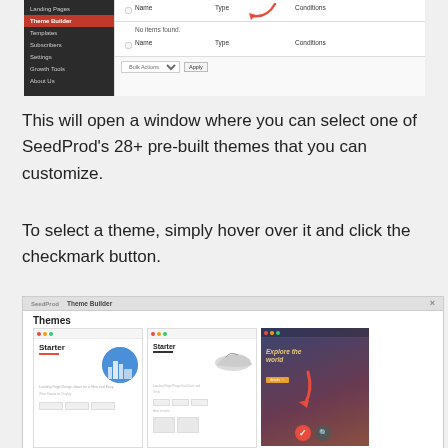[Figure (screenshot): WordPress admin sidebar with Theme Builder highlighted in red, showing a table with Name, Type, Conditions columns, No items found message, and Bulk Actions dropdown]
This will open a window where you can select one of SeedProd's 28+ pre-built themes that you can customize.
To select a theme, simply hover over it and click the checkmark button.
[Figure (screenshot): SeedProd Theme Builder Themes modal showing theme cards including two Starter themes and a travel-themed dark card with Explore the world text, and a red arrow pointing to a checkmark button]